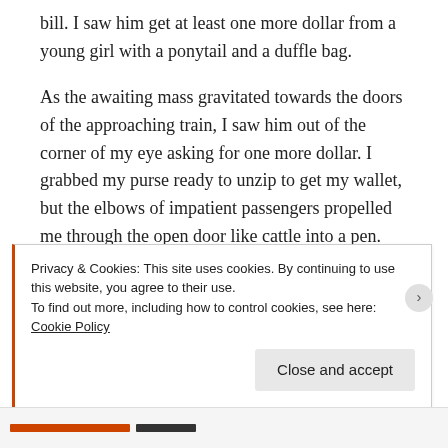bill. I saw him get at least one more dollar from a young girl with a ponytail and a duffle bag.
As the awaiting mass gravitated towards the doors of the approaching train, I saw him out of the corner of my eye asking for one more dollar. I grabbed my purse ready to unzip to get my wallet, but the elbows of impatient passengers propelled me through the open door like cattle into a pen.
Privacy & Cookies: This site uses cookies. By continuing to use this website, you agree to their use.
To find out more, including how to control cookies, see here: Cookie Policy